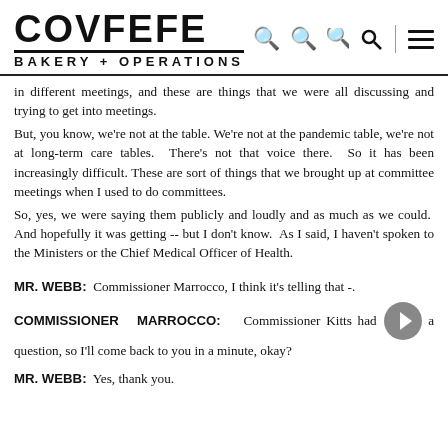COVFEFE BAKERY + OPERATIONS
in different meetings, and these are things that we were all discussing and trying to get into meetings.
But, you know, we're not at the table. We're not at the pandemic table, we're not at long-term care tables.  There's not that voice there.  So it has been increasingly difficult. These are sort of things that we brought up at committee meetings when I used to do committees.
So, yes, we were saying them publicly and loudly and as much as we could.  And hopefully it was getting -- but I don't know.  As I said, I haven't spoken to the Ministers or the Chief Medical Officer of Health.
MR. WEBB:  Commissioner Marrocco, I think it's telling that -.
COMMISSIONER MARROCCO:    Commissioner Kitts had a question, so I'll come back to you in a minute, okay?
MR. WEBB:  Yes, thank you.